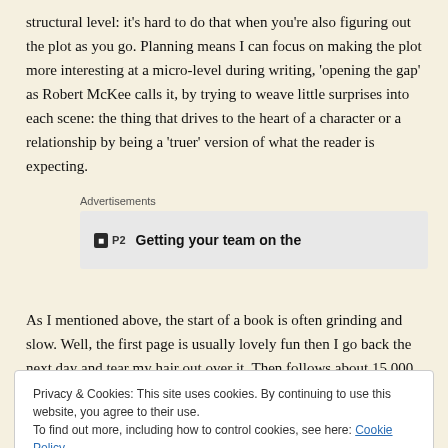structural level: it's hard to do that when you're also figuring out the plot as you go. Planning means I can focus on making the plot more interesting at a micro-level during writing, 'opening the gap' as Robert McKee calls it, by trying to weave little surprises into each scene: the thing that drives to the heart of a character or a relationship by being a 'truer' version of what the reader is expecting.
[Figure (other): Advertisement box with P2 logo and text 'Getting your team on the...']
As I mentioned above, the start of a book is often grinding and slow. Well, the first page is usually lovely fun then I go back the next day and tear my hair out over it. Then follows about 15,000 words that are
Privacy & Cookies: This site uses cookies. By continuing to use this website, you agree to their use. To find out more, including how to control cookies, see here: Cookie Policy
with the plan I've made. Assuming everything's going OK, after the